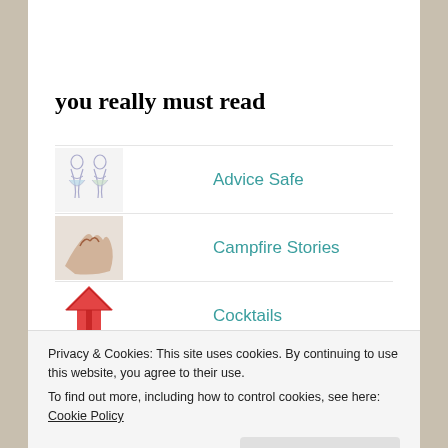you really must read
Advice Safe
Campfire Stories
Cocktails
The Green Folder
Privacy & Cookies: This site uses cookies. By continuing to use this website, you agree to their use. To find out more, including how to control cookies, see here: Cookie Policy
Close and accept